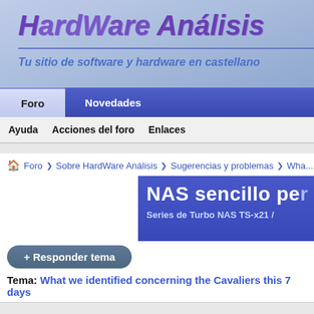[Figure (screenshot): HardWare Análisis website header banner with logo and tagline 'Tu sitio de software y hardware en castellano']
Foro | Novedades
Ayuda  Acciones del foro  Enlaces
Foro › Sobre HardWare Análisis › Sugerencias y problemas › Wha...
[Figure (screenshot): Ad banner: NAS sencillo pe... / Series de Turbo NAS TS-x21 /]
+ Responder tema
Tema: What we identified concerning the Cavaliers this 7 days
20/01/2021, 04:07
Brusdar
Acaba de llegar
★☆☆☆☆☆☆☆☆☆
What we identified concerning th...
The Cleveland Cavaliers went 2-1 this... are poor still not as lousy as their bac...